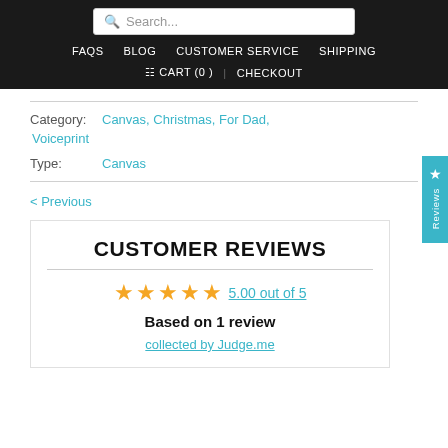Search... | FAQS | BLOG | CUSTOMER SERVICE | SHIPPING | CART (0) | CHECKOUT
Category: Canvas, Christmas, For Dad, Voiceprint
Type: Canvas
< Previous
CUSTOMER REVIEWS
5.00 out of 5 Based on 1 review collected by Judge.me